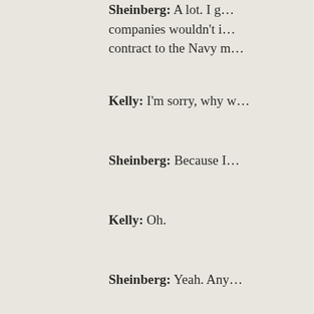Sheinberg: A lot. I g… companies wouldn't i… contract to the Navy m…
Kelly: I'm sorry, why w…
Sheinberg: Because I…
Kelly: Oh.
Sheinberg: Yeah. Any… responsible for making… was done on time and… outfitting of all kinds to… aboard ship at sea. Fo… weighted cart on it to t… specifications you had…
It was an interesting th… brother was in the first… But the war started in I…